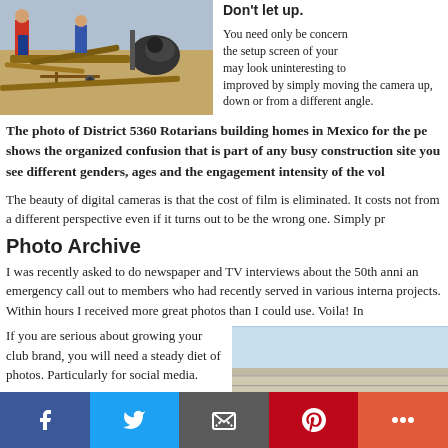[Figure (photo): Photo of District 5360 Rotarians building homes in Mexico, showing people working at a construction site with wooden beams and equipment on the ground.]
Don't let up.
You need only be concerned with the setup screen of your may look uninteresting to improved by simply moving the camera up, down or from a different angle.
The photo of District 5360 Rotarians building homes in Mexico for the pe shows the organized confusion that is part of any busy construction site you see different genders, ages and the engagement intensity of the vol
The beauty of digital cameras is that the cost of film is eliminated. It costs not from a different perspective even if it turns out to be the wrong one. Simply pr
Photo Archive
I was recently asked to do newspaper and TV interviews about the 50th anni an emergency call out to members who had recently served in various interna projects. Within hours I received more great photos than I could use. Voila! In
If you are serious about growing your club brand, you will need a steady diet of photos. Particularly for social media.
[Figure (photo): Partial photo visible at bottom right, showing a light blue sky and what appears to be a building or structure.]